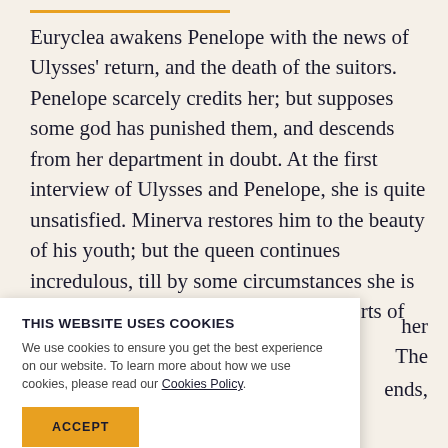Euryclea awakens Penelope with the news of Ulysses' return, and the death of the suitors. Penelope scarcely credits her; but supposes some god has punished them, and descends from her department in doubt. At the first interview of Ulysses and Penelope, she is quite unsatisfied. Minerva restores him to the beauty of his youth; but the queen continues incredulous, till by some circumstances she is convinced, and falls into all the transports of
[Figure (screenshot): Cookie consent banner overlay reading 'THIS WEBSITE USES COOKIES' with body text about cookies policy, a link to Cookies Policy, and an ACCEPT button.]
her ... The ... ends,
bottom partially visible text lines